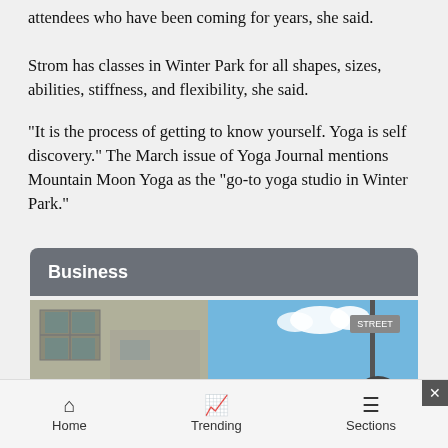attendees who have been coming for years, she said.
Strom has classes in Winter Park for all shapes, sizes, abilities, stiffness, and flexibility, she said.
“It is the process of getting to know yourself. Yoga is self discovery.” The March issue of Yoga Journal mentions Mountain Moon Yoga as the “go-to yoga studio in Winter Park.”
Business
[Figure (photo): Street scene showing a concrete building facade on the left and a blue sky with a street sign pole on the right]
[Figure (infographic): Advertisement banner: colorful striped left panel with illustrated figure, VOTE UPTRIPPING text in red, and elephant logo on right]
Home   Trending   Sections